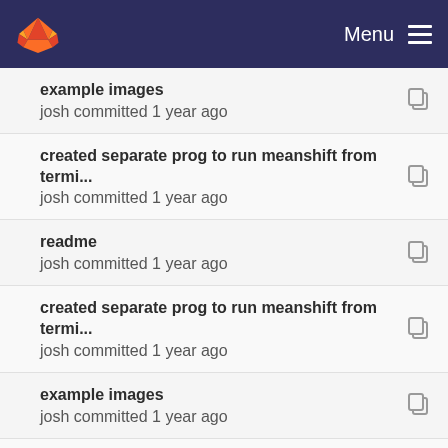GitLab — Menu
example images
josh committed 1 year ago
created separate prog to run meanshift from termi...
josh committed 1 year ago
readme
josh committed 1 year ago
created separate prog to run meanshift from termi...
josh committed 1 year ago
example images
josh committed 1 year ago
readme
josh committed 1 year ago
created separate prog to run meanshift from termi...
josh committed 1 year ago
more example images
josh committed 1 year ago